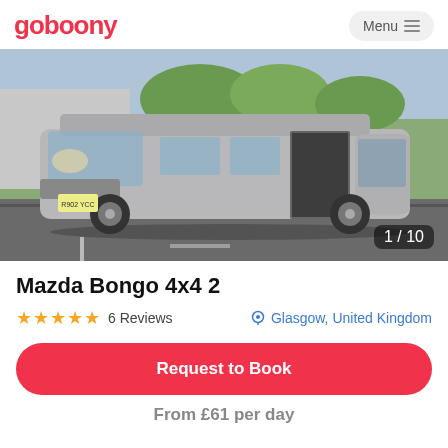goboony  Menu
[Figure (photo): Silver Mazda Bongo van parked in a car park with sliding door open, trees and greenery in background, sunny day. Image counter shows 1/10.]
Mazda Bongo 4x4 2
★★★★★  6 Reviews   Glasgow, United Kingdom
Request to Book
From £61 per day